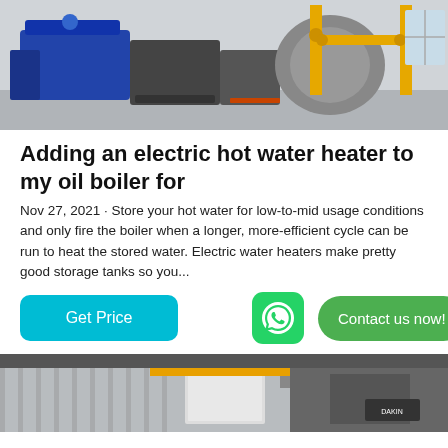[Figure (photo): Industrial boiler room with blue machinery and yellow gas pipes]
Adding an electric hot water heater to my oil boiler for
Nov 27, 2021 · Store your hot water for low-to-mid usage conditions and only fire the boiler when a longer, more-efficient cycle can be run to heat the stored water. Electric water heaters make pretty good storage tanks so you...
[Figure (screenshot): Get Price button (blue rounded rectangle), WhatsApp icon (green rounded square with phone handset), Contact us now! button (green rounded pill)]
[Figure (photo): Industrial facility interior with machinery and ventilation ducts]